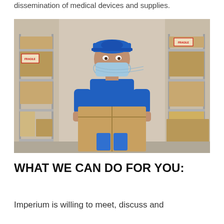dissemination of medical devices and supplies.
[Figure (photo): A warehouse worker in a blue uniform and cap wearing a surgical mask, holding a cardboard box in a warehouse with metal shelving units stacked with cardboard boxes. A FRAGILE sticker is visible on a box to the left and right.]
WHAT WE CAN DO FOR YOU:
Imperium is willing to meet, discuss and